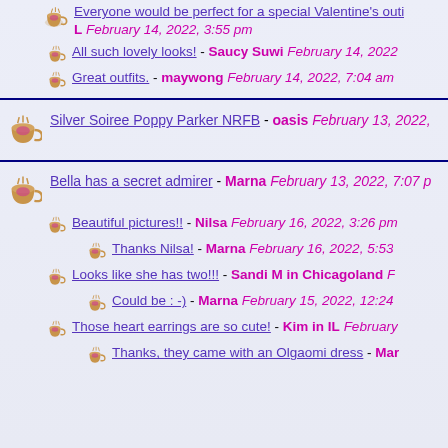Everyone would be perfect for a special Valentine's outi... L - February 14, 2022, 3:55 pm
All such lovely looks! - Saucy Suwi February 14, 2022
Great outfits. - maywong February 14, 2022, 7:04 am
Silver Soiree Poppy Parker NRFB - oasis February 13, 2022,
Bella has a secret admirer - Marna February 13, 2022, 7:07 p
Beautiful pictures!! - Nilsa February 16, 2022, 3:26 pm
Thanks Nilsa! - Marna February 16, 2022, 5:53
Looks like she has two!!! - Sandi M in Chicagoland F
Could be : -) - Marna February 15, 2022, 12:24
Those heart earrings are so cute! - Kim in IL February
Thanks, they came with an Olgaomi dress - Mar